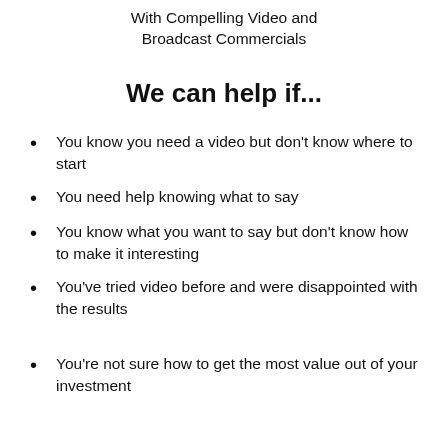With Compelling Video and Broadcast Commercials
We can help if...
You know you need a video but don't know where to start
You need help knowing what to say
You know what you want to say but don't know how to make it interesting
You've tried video before and were disappointed with the results
You're not sure how to get the most value out of your investment